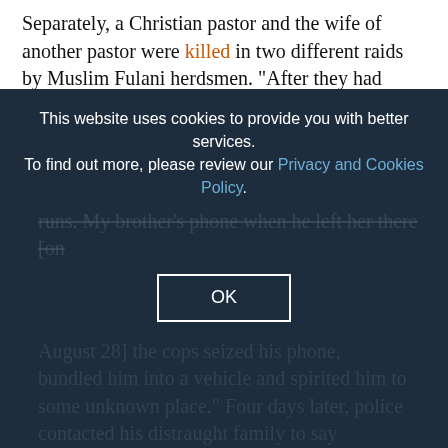Separately, a Christian pastor and the wife of another pastor were killed in two different raids by Muslim Fulani herdsmen. "After they had killed her [Esther Ishaku Katung], they were still demanding the ransom without telling her family that they had killed her," a local Christian said. "It was only after the ransom was paid that it was found by her family that she had been killed by her abductors." Her mutilated body was found dumped in the bushes.
Pakistan: Police in Lahore tortured to death a 28-year-old Christian man, Amir Masih. After Masih's employer -- for whom Masih had worked as a gardener -- reported an incident of theft, police instructed Masih and the other employees to come in for questioning. "My brother went [partially obscured] August 28] the cops seized his phone, bundled him into a vehicle and spirited him to some unknown place." Four days later, police contacted his distraught family to say
This website uses cookies to provide you with better services. To find out more, please review our Privacy and Cookies Policy.
OK